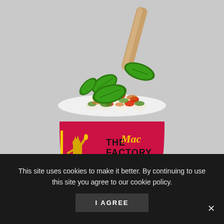[Figure (photo): A red branded cup labeled 'THE Mac FACTORY' with a Statute of Liberty illustration, filled with mac and cheese topped with red tomato sauce, green pesto, fresh basil leaves, orange breadcrumbs, and a wooden fork. Light grey background. A small basil leaf visible at bottom right.]
This site uses cookies to make it better. By continuing to use this site you agree to our cookie policy.
I AGREE